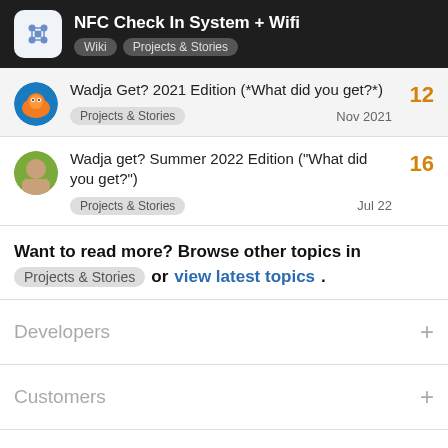NFC Check In System + Wifi — Wiki | Projects & Stories
Wadja Get? 2021 Edition (*What did you get?*) — Projects & Stories — Nov 2021 — 12 replies
Wadja get? Summer 2022 Edition ("What did you get?") — Projects & Stories — Jul 22 — 16 replies
Want to read more? Browse other topics in Projects & Stories or view latest topics.
Developers
Customers